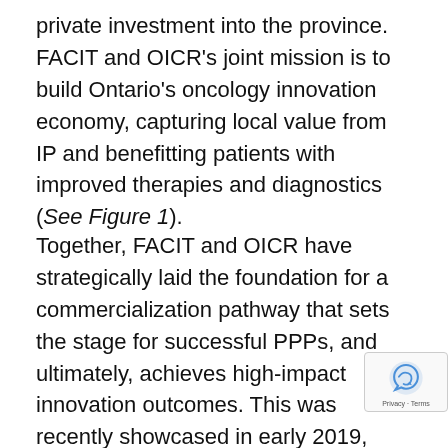private investment into the province. FACIT and OICR's joint mission is to build Ontario's oncology innovation economy, capturing local value from IP and benefitting patients with improved therapies and diagnostics (See Figure 1).
Together, FACIT and OICR have strategically laid the foundation for a commercialization pathway that sets the stage for successful PPPs, and ultimately, achieves high-impact innovation outcomes. This was recently showcased in early 2019, when FACIT and one of its portfolio companies, Triphase Accelerator, announced a historic $1B USD strategic partnership with U.S.-based Celgene an OICR-discovered first-in-class drug candidate blood cancers.